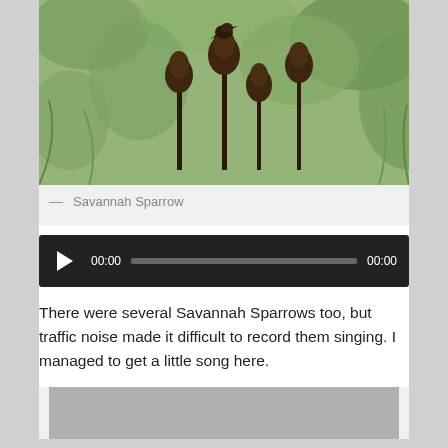[Figure (photo): A small bird (Savannah Sparrow) perched on top of a tall dried seed head among green grassy vegetation]
— Savannah Sparrow
[Figure (other): Audio player with play button, 00:00 time display, progress bar, and 00:00 end time on dark background]
There were several Savannah Sparrows too, but traffic noise made it difficult to record them singing. I managed to get a little song here.
[Figure (photo): Partial view of another photo at the bottom of the page (cropped)]